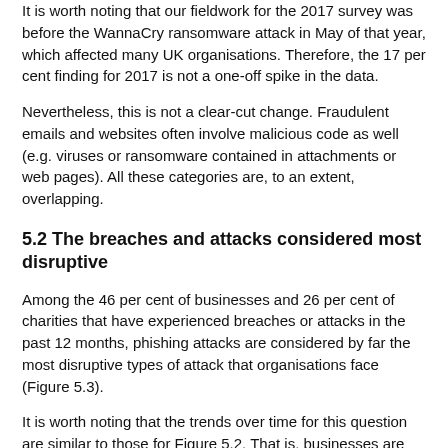It is worth noting that our fieldwork for the 2017 survey was before the WannaCry ransomware attack in May of that year, which affected many UK organisations. Therefore, the 17 per cent finding for 2017 is not a one-off spike in the data.
Nevertheless, this is not a clear-cut change. Fraudulent emails and websites often involve malicious code as well (e.g. viruses or ransomware contained in attachments or web pages). All these categories are, to an extent, overlapping.
5.2 The breaches and attacks considered most disruptive
Among the 46 per cent of businesses and 26 per cent of charities that have experienced breaches or attacks in the past 12 months, phishing attacks are considered by far the most disruptive types of attack that organisations face (Figure 5.3).
It is worth noting that the trends over time for this question are similar to those for Figure 5.2. That is, businesses are now more likely to say that their single most disruptive breach or attack was a phishing attack than in 2017 (67% vs.